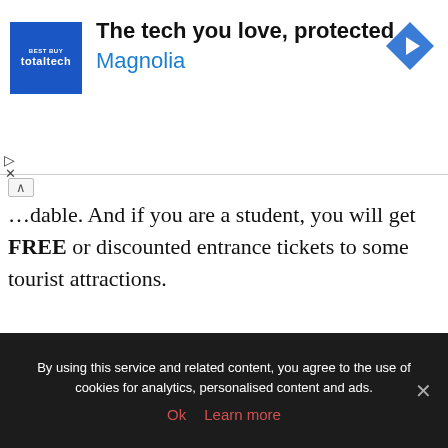[Figure (screenshot): Advertisement banner: Best Buy TotalTech logo on blue square, text 'The tech you love, protected' and 'Magnolia' in blue, with a blue diamond navigation arrow icon on the right]
...dable. And if you are a student, you will get FREE or discounted entrance tickets to some tourist attractions.
[Figure (photo): Photograph of a rocky hillside, possibly Santorini, Greece, with white buildings at the base of steep brown cliffs under a light blue sky]
By using this service and related content, you agree to the use of cookies for analytics, personalised content and ads.
Ok   Learn more